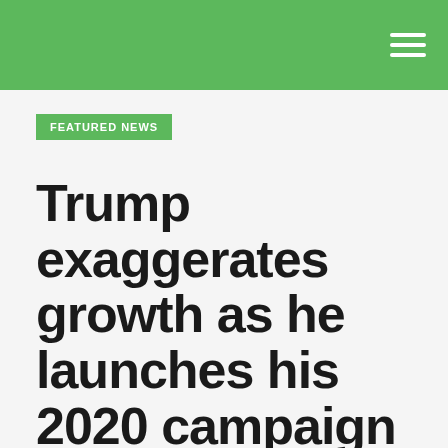FEATURED NEWS
Trump exaggerates growth as he launches his 2020 campaign
by yalibnan